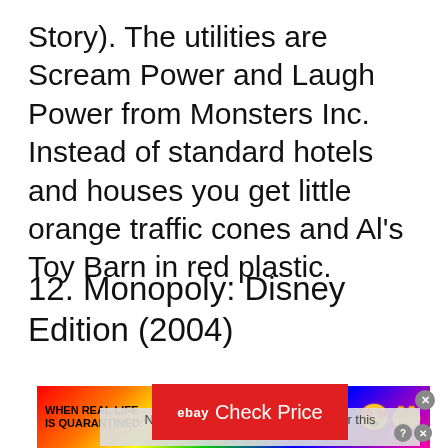Story). The utilities are Scream Power and Laugh Power from Monsters Inc. Instead of standard hotels and houses you get little orange traffic cones and Al's Toy Barn in red plastic.
12. Monopoly: Disney Edition (2004)
[Figure (other): eBay Check Price button (red background with white text) overlaid on a gray video placeholder saying 'No compatible source was found for this media.']
[Figure (other): BitLife advertisement banner with rainbow background reading 'WHEN REAL LIFE IS QUARANTINED' with a sperm icon and BitLife logo with emoji characters]